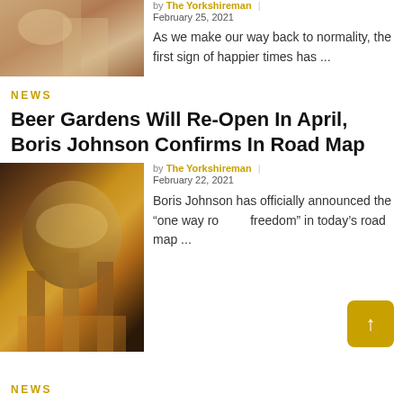[Figure (photo): Partial photo of a person at a table, cropped at top]
by The Yorkshireman | February 25, 2021
As we make our way back to normality, the first sign of happier times has ...
NEWS
Beer Gardens Will Re-Open In April, Boris Johnson Confirms In Road Map
[Figure (photo): Person pouring beer from tap at a bar, beer garden scene]
by The Yorkshireman | February 22, 2021
Boris Johnson has officially announced the “one way road to freedom” in today’s road map ...
NEWS